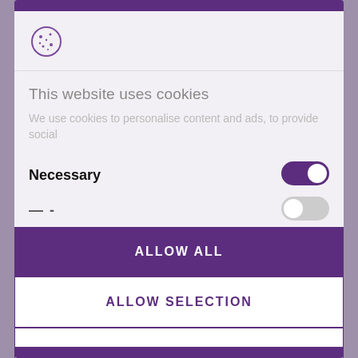[Figure (illustration): Cookie consent modal dialog with cookie icon, title, description, toggle switches for Necessary (on) and a second category (partially visible, off), and three buttons: ALLOW ALL, ALLOW SELECTION, DENY]
This website uses cookies
We use cookies to personalise content and ads, to provide social
Necessary
ALLOW ALL
ALLOW SELECTION
DENY